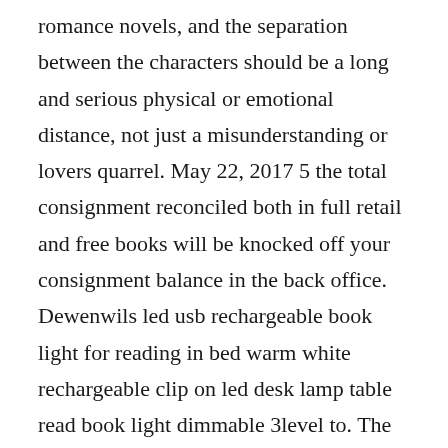romance novels, and the separation between the characters should be a long and serious physical or emotional distance, not just a misunderstanding or lovers quarrel. May 22, 2017 5 the total consignment reconciled both in full retail and free books will be knocked off your consignment balance in the back office. Dewenwils led usb rechargeable book light for reading in bed warm white rechargeable clip on led desk lamp table read book light dimmable 3level to. The lamp can be adjusted to three brightness modes, lasting 5 hours on the brightest setting and up to 24